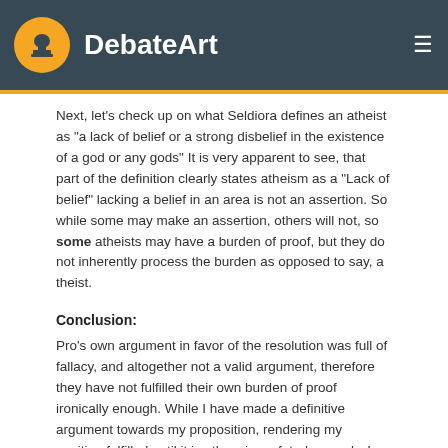DebateArt
Next, let's check up on what Seldiora defines an atheist as "a lack of belief or a strong disbelief in the existence of a god or any gods" It is very apparent to see, that part of the definition clearly states atheism as a "Lack of belief" lacking a belief in an area is not an assertion. So while some may make an assertion, others will not, so some atheists may have a burden of proof, but they do not inherently process the burden as opposed to say, a theist.
Conclusion:
Pro's own argument in favor of the resolution was full of fallacy, and altogether not a valid argument, therefore they have not fulfilled their own burden of proof ironically enough. While I have made a definitive argument towards my proposition, rendering my position fulfilled until it is otherwise refuted properly. I look forward to Pro's argument in round 2.
Back to Pro